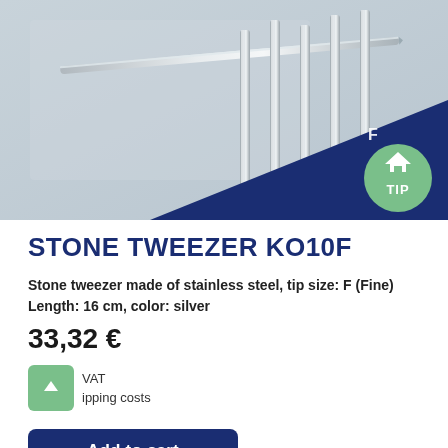[Figure (photo): Product photo of stone tweezers made of stainless steel against a light grey background, with a dark navy blue diagonal shape in the lower right and a mint green circular 'TIP' badge icon. Multiple tweezer tips visible standing upright. Letter 'F' visible on the navy section.]
STONE TWEEZER KO10F
Stone tweezer made of stainless steel, tip size: F (Fine)
Length: 16 cm, color: silver
33,32 €
VAT
ipping costs
Add to cart